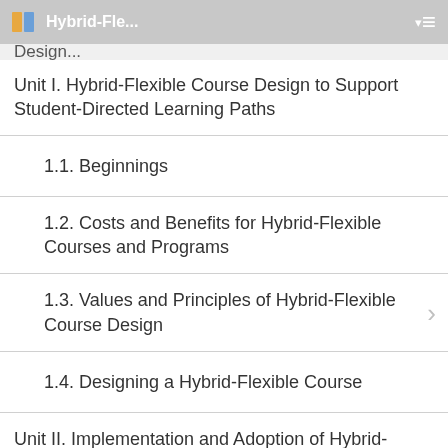Hybrid-Fle... ▾  ≡
Unit I. Hybrid-Flexible Course Design to Support Student-Directed Learning Paths
1.1. Beginnings
1.2. Costs and Benefits for Hybrid-Flexible Courses and Programs
1.3. Values and Principles of Hybrid-Flexible Course Design
1.4. Designing a Hybrid-Flexible Course
Unit II. Implementation and Adoption of Hybrid-Flexible Instruction